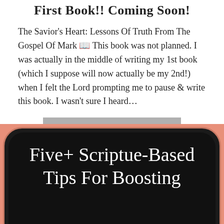First Book!! Coming Soon!
The Savior's Heart: Lessons Of Truth From The Gospel Of Mark 📖 This book was not planned. I was actually in the middle of writing my 1st book (which I suppose will now actually be my 2nd!) when I felt the Lord prompting me to pause & write this book. I wasn't sure I heard…
READ MORE
[Figure (illustration): Dark chalkboard-style graphic with salmon/coral background and rounded black frame containing white serif text reading 'Five+ Scriptue-Based Tips For Boosting']